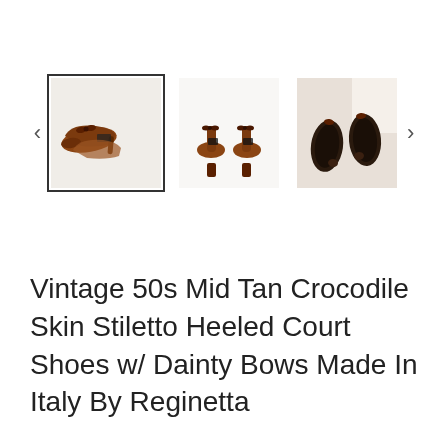[Figure (photo): Product listing image gallery showing three thumbnail photos of vintage tan crocodile skin stiletto heeled court shoes with bows. The first thumbnail (selected, with border) shows the shoes from the side/front angle. The second shows them from the front. The third shows the soles. Navigation arrows (< and >) appear on either side of the thumbnails.]
Vintage 50s Mid Tan Crocodile Skin Stiletto Heeled Court Shoes w/ Dainty Bows Made In Italy By Reginetta